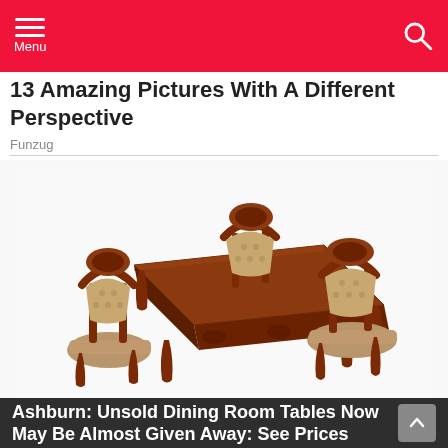Menu
13 Amazing Pictures With A Different Perspective
Funzug
[Figure (photo): Ornate dark wood dining table set with three tufted beige upholstered chairs, on a white background. Victorian/Baroque style furniture with carved decorative legs and frames.]
Ashburn: Unsold Dining Room Tables Now May Be Almost Given Away: See Prices